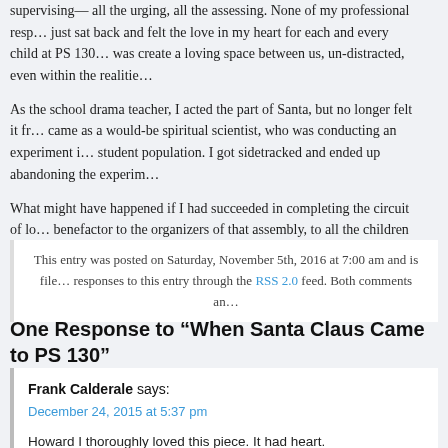supervising— all the urging, all the assessing. None of my professional resp… just sat back and felt the love in my heart for each and every child at PS 130… was create a loving space between us, un-distracted, even within the realities…
As the school drama teacher, I acted the part of Santa, but no longer felt it fr… came as a would-be spiritual scientist, who was conducting an experiment i… student population. I got sidetracked and ended up abandoning the experime…
What might have happened if I had succeeded in completing the circuit of lo… benefactor to the organizers of that assembly, to all the children in the scho… on Prospect Street that year, if only Santa Claus had stayed just a little while…
This entry was posted on Saturday, November 5th, 2016 at 7:00 am and is file… responses to this entry through the RSS 2.0 feed. Both comments an…
One Response to “When Santa Claus Came to PS 130”
Frank Calderale says:
December 24, 2015 at 5:37 pm
Howard I thoroughly loved this piece. It had heart.